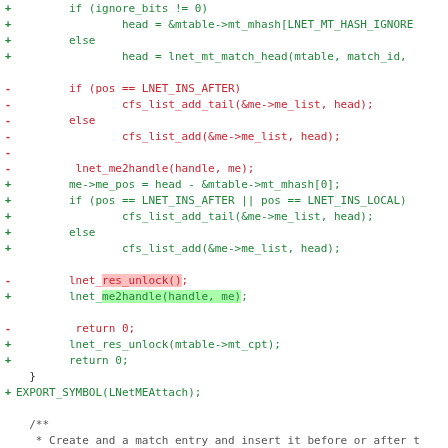Code diff showing changes to LNet match entry attach function, including modifications to lnet_res_unlock, lnet_me2handle, return statements, and EXPORT_SYMBOL, followed by a hunk header for LNetMEInsert function.